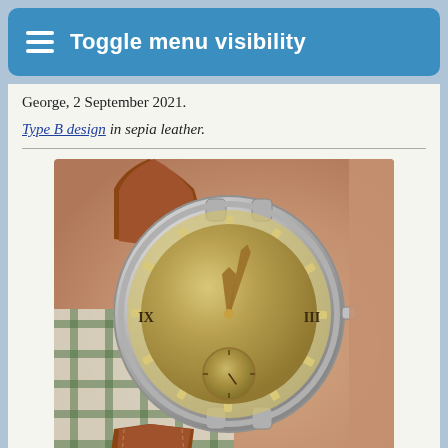Toggle menu visibility
George, 2 September 2021.
Type B design in sepia leather.
[Figure (photo): A vintage wristwatch with a gold/champagne dial showing Roman numerals at 9 and 3 o'clock positions and a subsidiary seconds dial at 6 o'clock, housed in a silver-tone round case, worn on a brown sepia leather strap, photographed on a wrist against a plaid fabric background.]